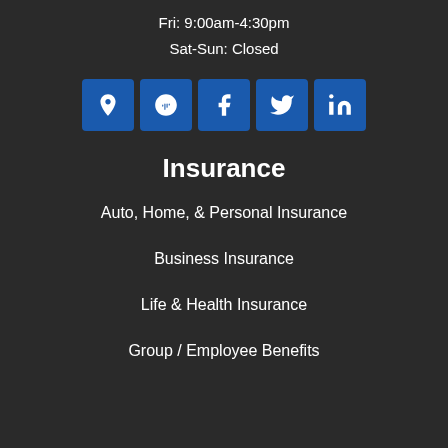Fri: 9:00am-4:30pm
Sat-Sun: Closed
[Figure (infographic): Five blue square social media icon buttons: Google Maps/location pin, Yelp, Facebook, Twitter, LinkedIn]
Insurance
Auto, Home, & Personal Insurance
Business Insurance
Life & Health Insurance
Group / Employee Benefits